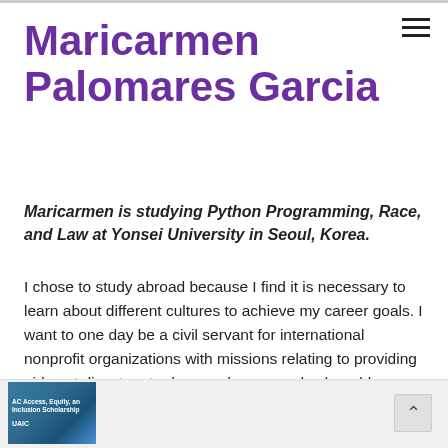Maricarmen Palomares Garcia
Maricarmen is studying Python Programming, Race, and Law at Yonsei University in Seoul, Korea.
I chose to study abroad because I find it is necessary to learn about different cultures to achieve my career goals. I want to one day be a civil servant for international nonprofit organizations with missions relating to providing aid post disasters to damaged areas and vulnerable populations. Studying abroad will provide me with a self-awareness that will help me in the future provide assistance in such a manner that is respectful of the local culture and customs. While studying abroad I hope to gain a new…
[Figure (other): Thumbnail image of a scholarship or academic publication cover, teal/blue colored with text including 'Access, Equity, and Inclusion Scholarship' and logo text 'UAIC']